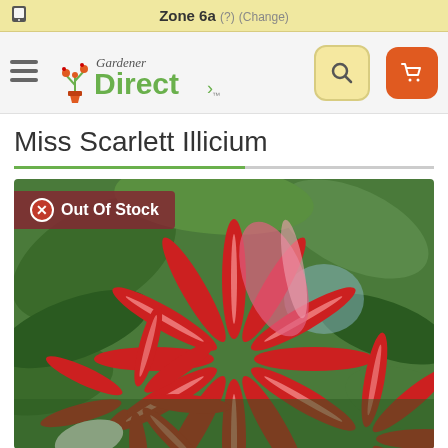Zone 6a (?) (Change)
[Figure (logo): Gardener Direct logo with plant icon]
Miss Scarlett Illicium
[Figure (photo): Close-up photo of a red and white Miss Scarlett Illicium flower with green leaves in the background. An 'Out Of Stock' badge overlays the top-left corner.]